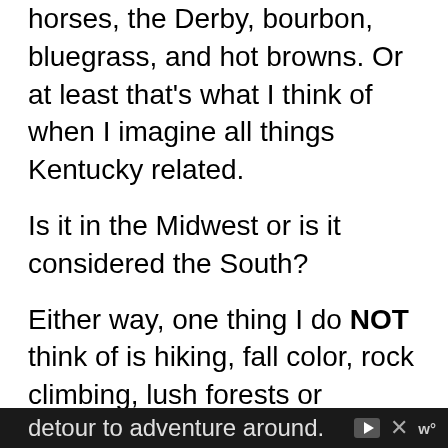horses, the Derby, bourbon, bluegrass, and hot browns. Or at least that's what I think of when I imagine all things Kentucky related.
Is it in the Midwest or is it considered the South?
Either way, one thing I do NOT think of is hiking, fall color, rock climbing, lush forests or sandstone arches. Yet, that's what we found one day exploring the east-central part of the state. The gorge area was our first stop at the beginning of our 7-week US road trip. We were glad that we took a little detour to adventure around.
detour to adventure around.